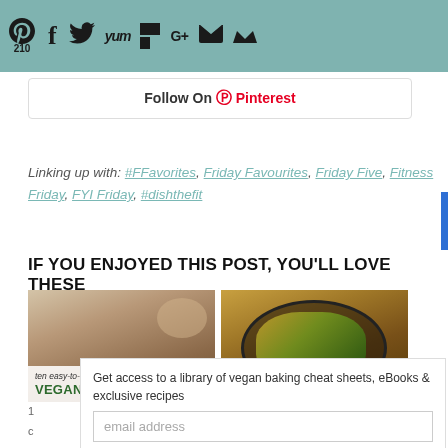Social share bar with icons: Pinterest (210), Facebook, Twitter, Yum, Flipboard, Google+, Email, Crown. Follow On Pinterest button.
Linking up with: #FFavorites, Friday Favourites, Friday Five, Fitness Friday, FYI Friday, #dishthefit
IF YOU ENJOYED THIS POST, YOU'LL LOVE THESE
[Figure (photo): Two food blog related images side by side: left shows ten easy-to-make VEGAN SALAD overlay on food photo; right shows a curry/stir-fry dish in a pan.]
Get access to a library of vegan baking cheat sheets, eBooks & exclusive recipes
email address
SUBSCRIBE